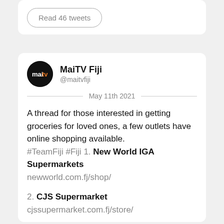Read 46 tweets
MaiTV Fiji @maitvfiji
May 11th 2021
A thread for those interested in getting groceries for loved ones, a few outlets have online shopping available. #TeamFiji #Fiji 1. New World IGA Supermarkets newworld.com.fj/shop/
2. CJS Supermarket cjssupermarket.com.fj/store/
3. RB Patel Supermarkets rbpatel.com.fj